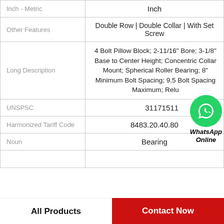| Property | Value |
| --- | --- |
| Inch - Metric | Inch |
| Other Features | Double Row | Double Collar | With Set Screw |
| Long Description | 4 Bolt Pillow Block; 2-11/16" Bore; 3-1/8" Base to Center Height; Concentric Collar Mount; Spherical Roller Bearing; 8" Minimum Bolt Spacing; 9.5 Bolt Spacing Maximum; Relu... |
| UNSPSC | 31171511 |
| Harmonized Tariff Code | 8483.20.40.80 |
| Noun | Bearing |
All Products   Contact Now